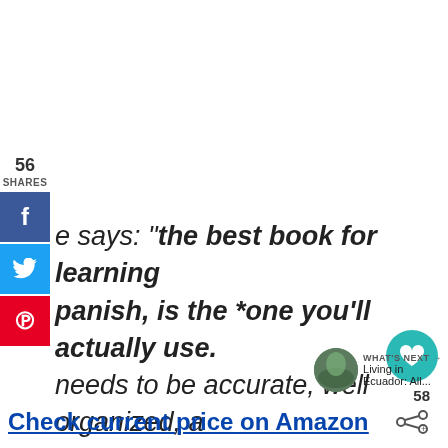56
SHARES
f
🐦
℗
e says: “the best book for learning panish, is the *one you’ll actually use. needs to be accurate, well organized, a accessible.”
Check current price on Amazon